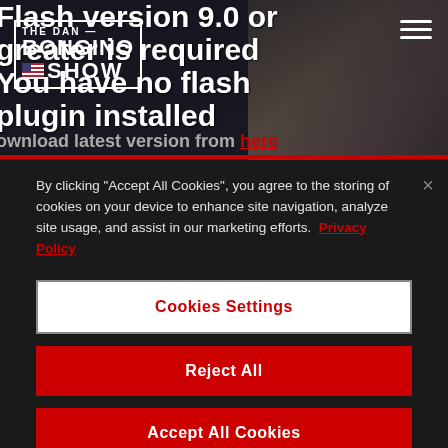[Figure (screenshot): Website hero area showing 'The Dan Bongino Show' logo and Flash plugin error message overlay on a dark background with a person partially visible on the right]
Flash version 9.0 or greater is required
You have no flash plugin installed
Download latest version from here
By clicking “Accept All Cookies”, you agree to the storing of cookies on your device to enhance site navigation, analyze site usage, and assist in our marketing efforts.  Privacy Policy
Cookies Settings
Reject All
Accept All Cookies